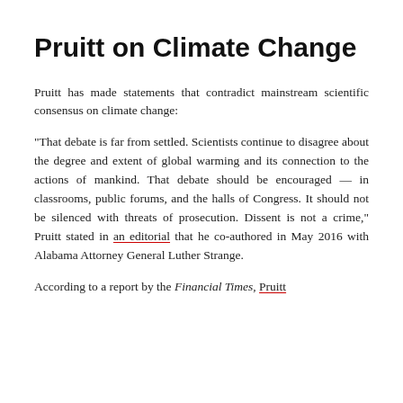Pruitt on Climate Change
Pruitt has made statements that contradict mainstream scientific consensus on climate change:
"That debate is far from settled. Scientists continue to disagree about the degree and extent of global warming and its connection to the actions of mankind. That debate should be encouraged — in classrooms, public forums, and the halls of Congress. It should not be silenced with threats of prosecution. Dissent is not a crime," Pruitt stated in an editorial that he co-authored in May 2016 with Alabama Attorney General Luther Strange.
According to a report by the Financial Times, Pruitt